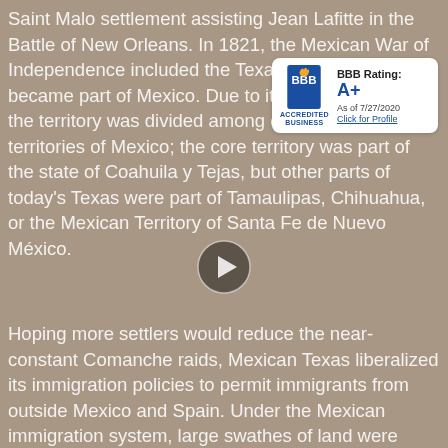Saint Malo settlement assisting Jean Lafitte in the Battle of New Orleans. In 1821, the Mexican War of Independence included the Texas territory, which became part of Mexico. Due to its low population, the territory was divided among other states and territories of Mexico; the core territory was part of the state of Coahuila y Tejas, but other parts of today's Texas were part of Tamaulipas, Chihuahua, or the Mexican Territory of Santa Fe de Nuevo México.
[Figure (logo): BBB Accredited Business badge showing BBB Rating: A+, As of 7/27/2020, Click for Profile]
[Figure (screenshot): Video play button overlay on background image of bookshelves]
Hoping more settlers would reduce the near-constant Comanche raids, Mexican Texas liberalized its immigration policies to permit immigrants from outside Mexico and Spain. Under the Mexican immigration system, large swathes of land were allotted to empresarios, who recruited settlers from the United States, Europe, and the Mexican interior. The first grant, to Moses Austin, was passed to his son Stephen F. Austin after his death.